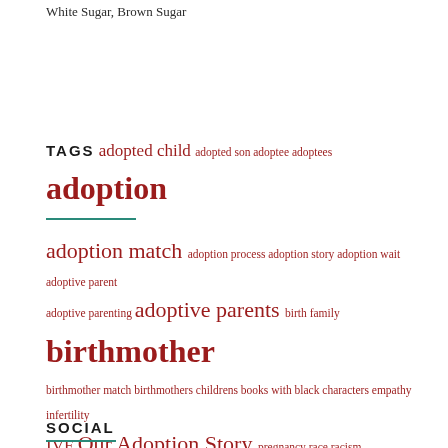White Sugar, Brown Sugar
TAGS adopted child adopted son adoptee adoptees adoption adoption match adoption process adoption story adoption wait adoptive parent adoptive parenting adoptive parents birth family birthmother birthmother match birthmothers childrens books with black characters empathy infertility IVF Our Adoption Story pregnancy race racism transracial adoption
SOCIAL